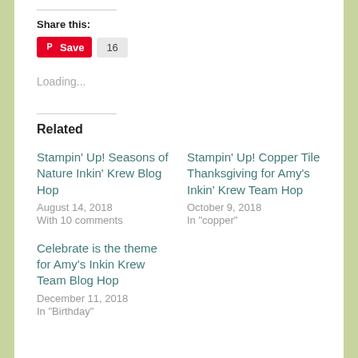Share this:
[Figure (screenshot): Pinterest Save button with red background showing Pinterest logo and 'Save' text, followed by a count badge showing '16']
Loading...
Related
Stampin' Up! Seasons of Nature Inkin' Krew Blog Hop
August 14, 2018
With 10 comments
Stampin' Up! Copper Tile Thanksgiving for Amy's Inkin' Krew Team Hop
October 9, 2018
In "copper"
Celebrate is the theme for Amy's Inkin Krew Team Blog Hop
December 11, 2018
In "Birthday"